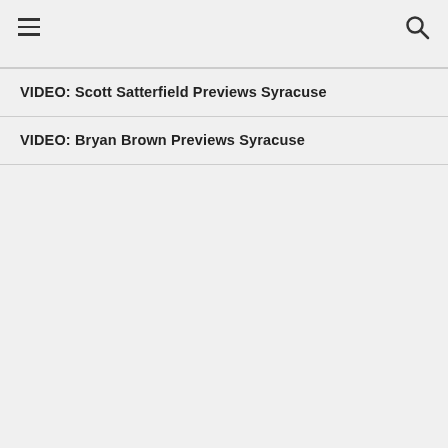VIDEO: Scott Satterfield Previews Syracuse
VIDEO: Bryan Brown Previews Syracuse